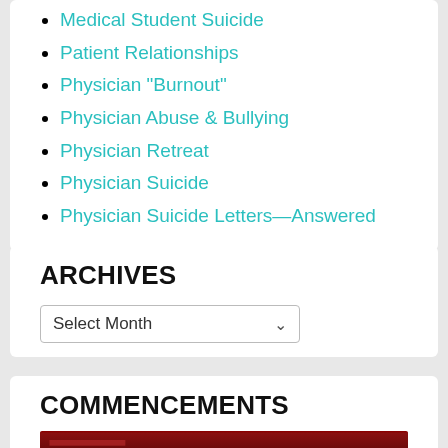Medical Student Suicide
Patient Relationships
Physician "Burnout"
Physician Abuse & Bullying
Physician Retreat
Physician Suicide
Physician Suicide Letters—Answered
ARCHIVES
Select Month
COMMENCEMENTS
[Figure (photo): Partial view of a book or publication cover with dark red/maroon tones]